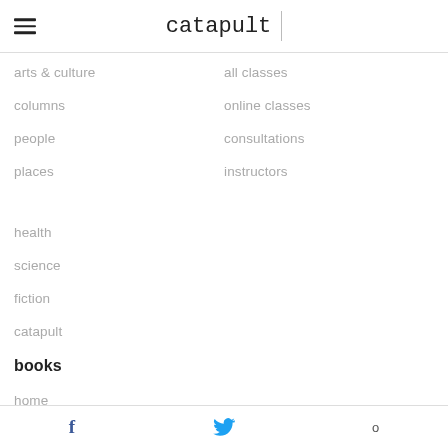catapult
arts & culture
all classes
columns
online classes
people
consultations
places
instructors
health
science
fiction
catapult
books
home
f  (twitter bird)  o